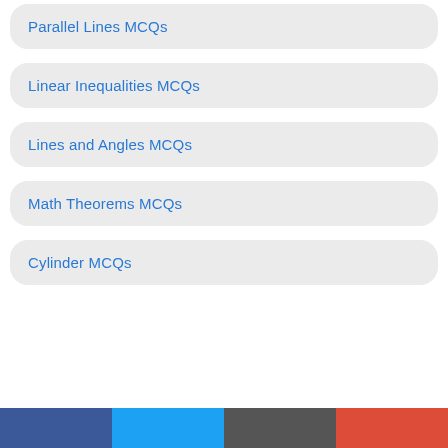Parallel Lines MCQs
Linear Inequalities MCQs
Lines and Angles MCQs
Math Theorems MCQs
Cylinder MCQs